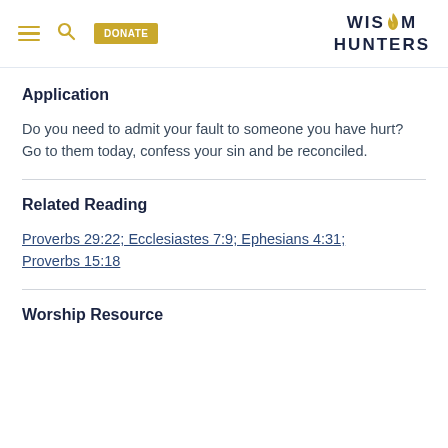WISDOM HUNTERS [with hamburger, search, donate controls]
Application
Do you need to admit your fault to someone you have hurt? Go to them today, confess your sin and be reconciled.
Related Reading
Proverbs 29:22; Ecclesiastes 7:9; Ephesians 4:31; Proverbs 15:18
Worship Resource